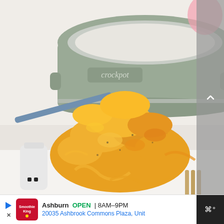[Figure (photo): A spoon holding a large serving of creamy macaroni and cheese with melted cheddar, in front of a sage green Crock-Pot slow cooker on a white surface. Salt and pepper shakers visible on the left, wooden utensils on the right.]
Ashburn OPEN | 8AM–9PM
20035 Ashbrook Commons Plaza, Unit